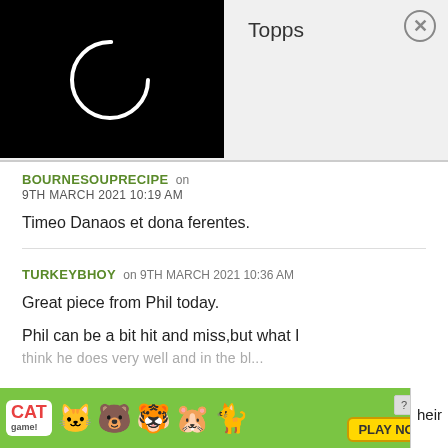[Figure (screenshot): Top bar showing a loading spinner on black background on the left, and 'Topps' title with close (X) button on grey background on the right]
BOURNESOUPRECIPE on 9TH MARCH 2021 10:19 AM
Timeo Danaos et dona ferentes.
TURKEYBHOY on 9TH MARCH 2021 10:36 AM
Great piece from Phil today.
Phil can be a bit hit and miss,but what I
[Figure (screenshot): Cat Game advertisement banner with colorful cartoon cats and a 'PLAY NOW' button, with 'heir' text visible on far right]